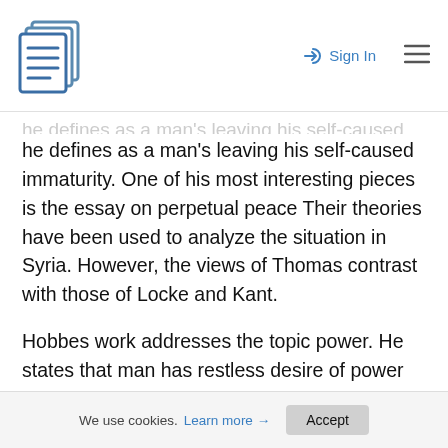Sign In
he defines as a man's leaving his self-caused immaturity. One of his most interesting pieces is the essay on perpetual peace Their theories have been used to analyze the situation in Syria. However, the views of Thomas contrast with those of Locke and Kant.
Hobbes work addresses the topic power. He states that man has restless desire of power after power that ceases only in death. Al-Assad fight against the protesters is driven by the desire to retain and stay in authority for until the time he decides it is enough. In 2011 when the protests
We use cookies. Learn more → Accept